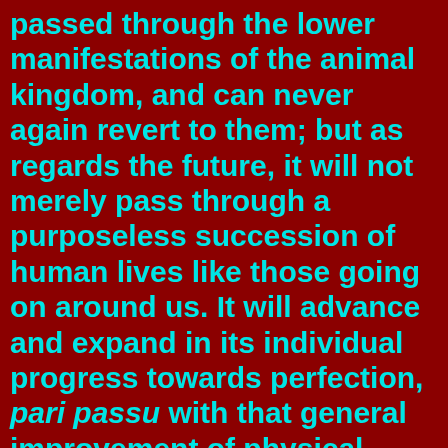passed through the lower manifestations of the animal kingdom, and can never again revert to them; but as regards the future, it will not merely pass through a purposeless succession of human lives like those going on around us. It will advance and expand in its individual progress towards perfection, pari passu with that general improvement of physical types on Earth which is still going forward, though the short views of human nature afforded us by mere historic observation may not render this process of improvement